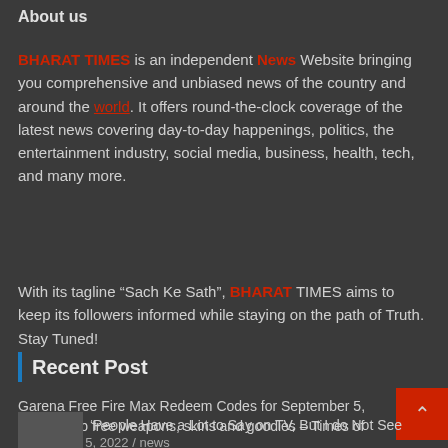About us
BHARAT TIMES is an independent News Website bringing you comprehensive and unbiased news of the country and around the world. It offers round-the-clock coverage of the latest news covering day-to-day happenings, politics, the entertainment industry, social media, business, health, tech, and many more.
With its tagline “Sach Ke Sath”, BHARAT TIMES aims to keep its followers informed while staying on the path of Truth. Stay Tuned!
Recent Post
Garena Free Fire Max Redeem Codes for September 5, 2022: Grab free weapons, skins and goodies – Times of India
September 5, 2022 / news
‘People Have a Lot to Say on TV, But I do Not See